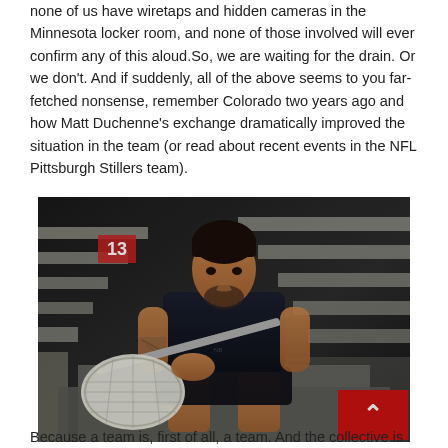none of us have wiretaps and hidden cameras in the Minnesota locker room, and none of those involved will ever confirm any of this aloud.So, we are waiting for the drain. Or we don't. And if suddenly, all of the above seems to you far-fetched nonsense, remember Colorado two years ago and how Matt Duchenne's exchange dramatically improved the situation in the team (or read about recent events in the NFL Pittsburgh Stillers team).
[Figure (photo): A male athlete sitting on concrete stadium steps, holding a lacrosse stick with a white mesh head. He is wearing a dark sleeveless shirt and shorts, with tattoos visible on his arm. The background shows concrete bleacher steps, with the number 13 visible on a wall. There is a red button with an upward arrow (back-to-top button) in the lower right corner of the image.]
Because a team is, first of all, a team. And the collective is